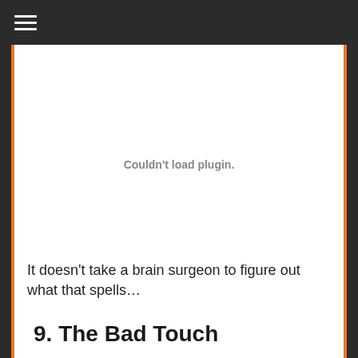[Figure (other): Hamburger menu icon (three horizontal white lines) on dark background top bar]
Couldn't load plugin.
It doesn't take a brain surgeon to figure out what that spells…
9. The Bad Touch